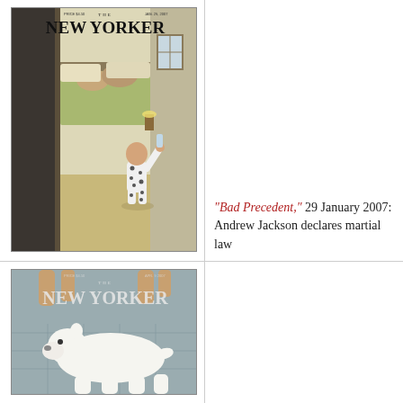[Figure (illustration): New Yorker magazine cover dated January 29, 2007, showing a toddler in polka-dot pajamas standing in a doorway, arm raised holding a bottle, looking toward parents sleeping in a bed.]
“Bad Precedent,” 29 January 2007: Andrew Jackson declares martial law
[Figure (illustration): New Yorker magazine cover (partially visible) showing a white polar bear or large dog on a tiled floor, with human hands/legs visible reaching from the top.]